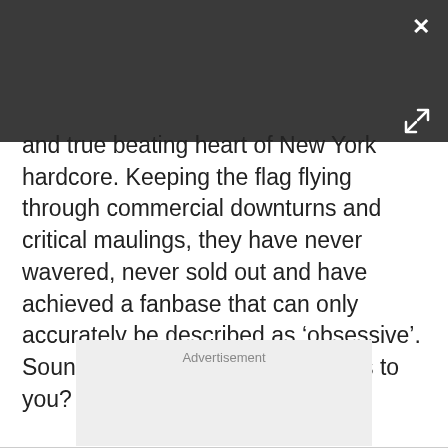[Figure (screenshot): Dark gray header bar with close (×) button top-right and expand arrows icon bottom-right]
and true beating heart of New York hardcore. Keeping the flag flying through commercial downturns and critical maulings, they have never wavered, never sold out and have achieved a fanbase that can only accurately be described as ‘obsessive’. Sound like any NWOBHM legends to you? Yup, sure does, doesn’t it?
Advertisement